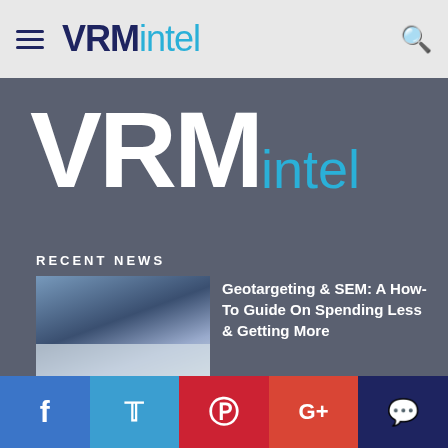VRM intel
[Figure (logo): Large VRM intel logo in white and cyan on dark gray background]
Calendar of Events
Videos & Whitepapers
VRMintel Magazine
Subscribe
Advertise
About Us
Authors
Contact Us
RECENT NEWS
Geotargeting & SEM: A How-To Guide On Spending Less & Getting More